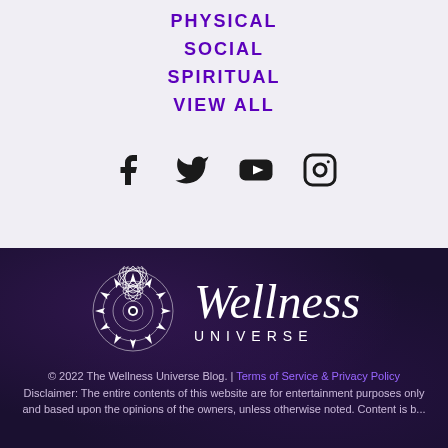PHYSICAL
SOCIAL
SPIRITUAL
VIEW ALL
[Figure (other): Social media icons: Facebook, Twitter, YouTube, Instagram]
[Figure (logo): Wellness Universe logo with mandala graphic and script 'Wellness UNIVERSE' text on dark purple background]
© 2022 The Wellness Universe Blog. | Terms of Service & Privacy Policy
Disclaimer: The entire contents of this website are for entertainment purposes only and based upon the opinions of the owners, unless otherwise noted. Content is b...